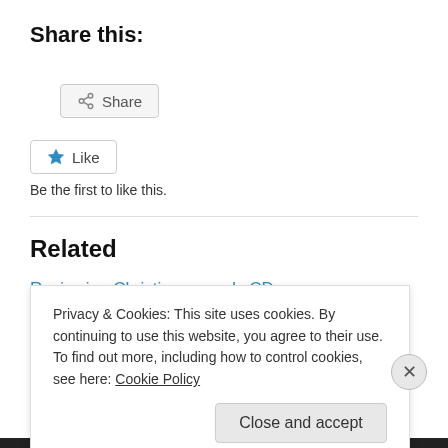Share this:
Share
Like
Be the first to like this.
Related
Reviewing Christian comedy CD
August 10, 2005
Blog changes and van theft
Privacy & Cookies: This site uses cookies. By continuing to use this website, you agree to their use.
To find out more, including how to control cookies, see here: Cookie Policy
Close and accept